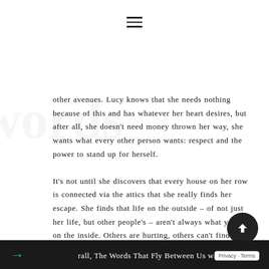☰
other avenues. Lucy knows that she needs nothing because of this and has whatever her heart desires, but after all, she doesn't need money thrown her way, she wants what every other person wants: respect and the power to stand up for herself.
It's not until she discovers that every house on her row is connected via the attics that she really finds her escape. She finds that life on the outside – of not just her life, but other people's – aren't always what you see on the inside. Others are hurting, others can't find the words to speak, either. And despite being able to fix the people around her, when it comes to matters close to the heart, fixing them might not be as easy.
rall, The Words That Fly Between Us was a dark ho